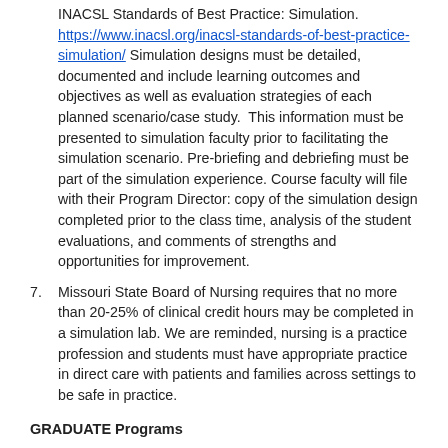INACSL Standards of Best Practice: Simulation. https://www.inacsl.org/inacsl-standards-of-best-practice-simulation/ Simulation designs must be detailed, documented and include learning outcomes and objectives as well as evaluation strategies of each planned scenario/case study. This information must be presented to simulation faculty prior to facilitating the simulation scenario. Pre-briefing and debriefing must be part of the simulation experience. Course faculty will file with their Program Director: copy of the simulation design completed prior to the class time, analysis of the student evaluations, and comments of strengths and opportunities for improvement.
Missouri State Board of Nursing requires that no more than 20-25% of clinical credit hours may be completed in a simulation lab. We are reminded, nursing is a practice profession and students must have appropriate practice in direct care with patients and families across settings to be safe in practice.
GRADUATE Programs
The graduate programs of GSON follow the same definition for credit hour for theory/didactic credit as our undergraduate programs. The award of graduate clinical credit hours varies by